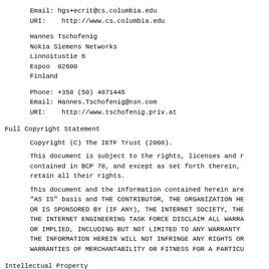Email: hgs+ecrit@cs.columbia.edu
URI:   http://www.cs.columbia.edu
Hannes Tschofenig
Nokia Siemens Networks
Linnoitustie 6
Espoo  02600
Finland
Phone: +358 (50) 4871445
Email: Hannes.Tschofenig@nsn.com
URI:   http://www.tschofenig.priv.at
Full Copyright Statement
Copyright (C) The IETF Trust (2008).
This document is subject to the rights, licenses and r contained in BCP 78, and except as set forth therein, retain all their rights.
This document and the information contained herein are "AS IS" basis and THE CONTRIBUTOR, THE ORGANIZATION HE OR IS SPONSORED BY (IF ANY), THE INTERNET SOCIETY, THE THE INTERNET ENGINEERING TASK FORCE DISCLAIM ALL WARRA OR IMPLIED, INCLUDING BUT NOT LIMITED TO ANY WARRANTY THE INFORMATION HEREIN WILL NOT INFRINGE ANY RIGHTS OR WARRANTIES OF MERCHANTABILITY OR FITNESS FOR A PARTICU
Intellectual Property